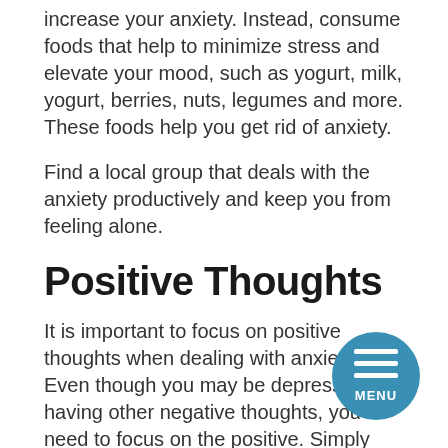increase your anxiety. Instead, consume foods that help to minimize stress and elevate your mood, such as yogurt, milk, yogurt, berries, nuts, legumes and more. These foods help you get rid of anxiety.
Find a local group that deals with the anxiety productively and keep you from feeling alone.
Positive Thoughts
It is important to focus on positive thoughts when dealing with anxiety. Even though you may be depressed or having other negative thoughts, you need to focus on the positive. Simply smiling can go a great way toward breaking free of anxiety. Try to keep positive thoughts in your mind to take yourself from stressful things whenever you can.
Now that you understand anxiety better, you are well